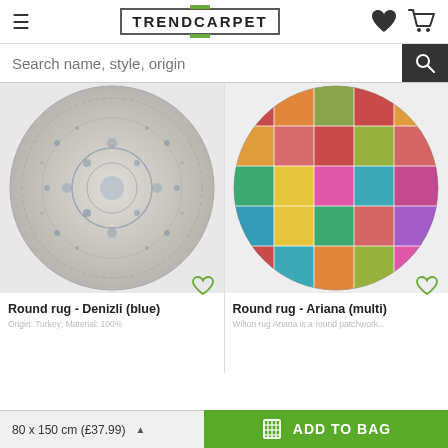TRENDCARPET
Search name, style, origin
[Figure (photo): Round rug - Denizli (blue): a circular rug with blue and white distressed floral pattern]
[Figure (photo): Round rug - Ariana (multi): a circular patchwork rug with multicolored squares in red, orange, teal, pink, yellow, and green]
Round rug - Denizli (blue)
Round rug - Ariana (multi)
Origin: Turkey; Material: 100%
Wilton rug Ariana is a round patchwork...
80 x 150 cm (£37.99)
ADD TO BAG